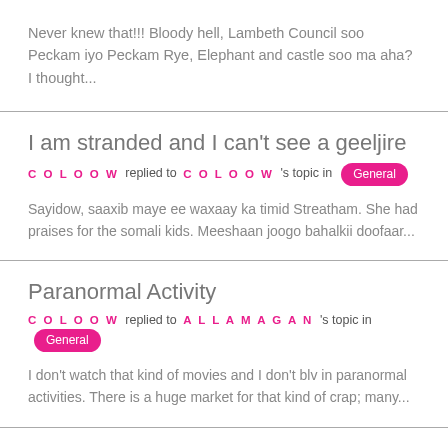Never knew that!!! Bloody hell, Lambeth Council soo Peckam iyo Peckam Rye, Elephant and castle soo ma aha? I thought...
I am stranded and I can't see a geeljire
COLOOW replied to COLOOW 's topic in General
Sayidow, saaxib maye ee waxaay ka timid Streatham. She had praises for the somali kids. Meeshaan joogo bahalkii doofaar...
Paranormal Activity
COLOOW replied to ALLAMAGAN 's topic in General
I don't watch that kind of movies and I don't blv in paranormal activities. There is a huge market for that kind of crap; many...
Clinical Trails